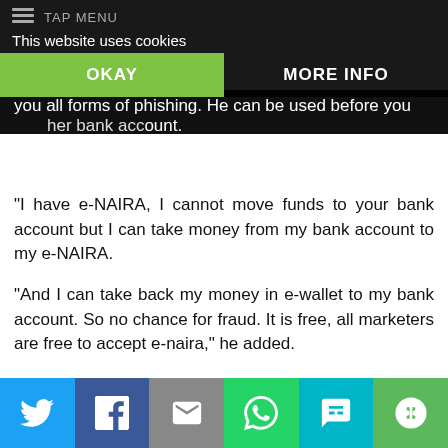TAP MENU
This website uses cookies
you all forms of phishing. He can be used before you transfer funds or purchase goods with his/her bank account.
OKAY
MORE INFO
“I have e-NAIRA, I cannot move funds to your bank account but I can take money from my bank account to my e-NAIRA.
“And I can take back my money in e-wallet to my bank account. So no chance for fraud. It is free, all marketers are free to accept e-naira,” he added.
Patrick Ukah, the secretary to the State Government, who was represented by the Director of Finance and Account in the office, Benson Ojoko, lauded the apex bank for the initiative to further reduce the volume of physical cash in circulation.
Godwin Okafor, the Branch controller of CBN in Asaba, who was
Twitter | Facebook | Email | WhatsApp | SMS | More